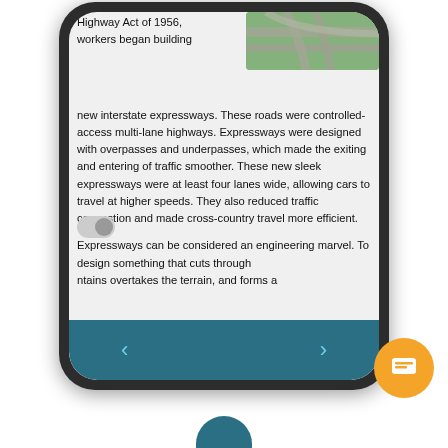[Figure (screenshot): A smartphone screen showing an educational text about interstate expressways built after the Federal Aid Highway Act of 1956. The screen shows partial text and an aerial photograph of highway interchanges at the top right. Navigation arrows are shown at the bottom on a teal background.]
Highway Act of 1956, workers began building new interstate expressways. These roads were controlled-access multi-lane highways. Expressways were designed with overpasses and underpasses, which made the exiting and entering of traffic smoother. These new sleek expressways were at least four lanes wide, allowing cars to travel at higher speeds. They also reduced traffic congestion and made cross-country travel more efficient.
Expressways can be considered an engineering marvel. To design something that cuts through mountains overtakes the terrain, and forms a
[Figure (screenshot): Orange circular chat/messaging button with a speech bubble icon, positioned at bottom right of page.]
[Figure (illustration): Partial teal circle visible at bottom center of page, likely a profile/avatar icon.]